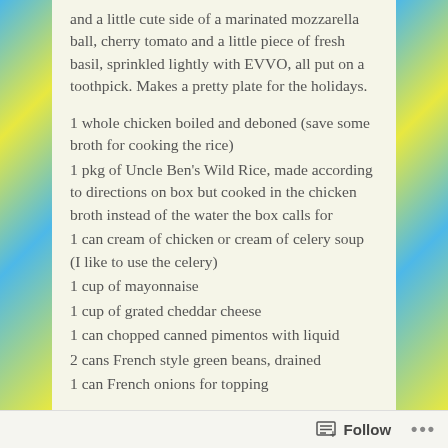and a little cute side of a marinated mozzarella ball, cherry tomato and a little piece of fresh basil, sprinkled lightly with EVVO, all put on a toothpick. Makes a pretty plate for the holidays.
1 whole chicken boiled and deboned (save some broth for cooking the rice)
1 pkg of Uncle Ben's Wild Rice, made according to directions on box but cooked in the chicken broth instead of the water the box calls for
1 can cream of chicken or cream of celery soup (I like to use the celery)
1 cup of mayonnaise
1 cup of grated cheddar cheese
1 can chopped canned pimentos with liquid
2 cans French style green beans, drained
1 can French onions for topping
Combine all ingredients except onions. Bake for 45 min at
Follow ...